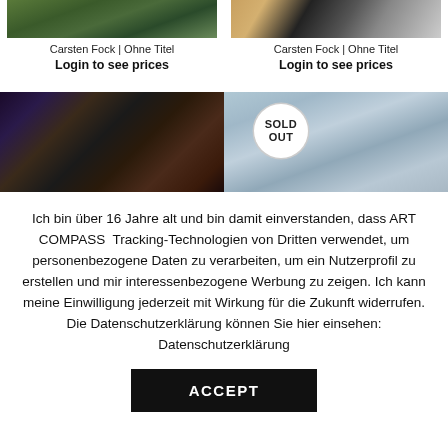[Figure (photo): Artwork image (top left) - abstract painting with dark greens]
Carsten Fock | Ohne Titel
Login to see prices
[Figure (photo): Artwork image (top right) - abstract painting with dark marks on light background]
Carsten Fock | Ohne Titel
Login to see prices
[Figure (photo): Artwork image (bottom left) - dark abstract painting with reds and blues]
[Figure (photo): Artwork image (bottom right) - light blue/grey abstract painting with SOLD OUT badge]
Ich bin über 16 Jahre alt und bin damit einverstanden, dass ART COMPASS  Tracking-Technologien von Dritten verwendet, um personenbezogene Daten zu verarbeiten, um ein Nutzerprofil zu erstellen und mir interessenbezogene Werbung zu zeigen. Ich kann meine Einwilligung jederzeit mit Wirkung für die Zukunft widerrufen. Die Datenschutzerklärung können Sie hier einsehen: Datenschutzerklärung
ACCEPT